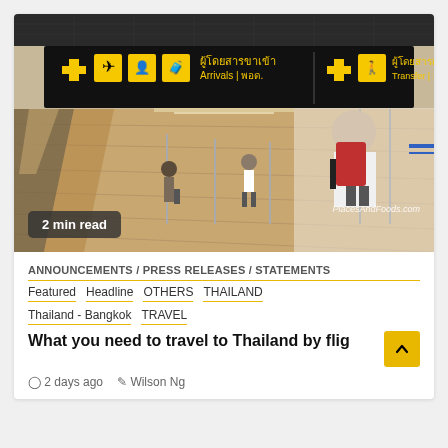[Figure (photo): Airport terminal interior with overhead signs showing Arrivals and Transfer in Thai and English, with travelers walking on wooden floor.]
2 min read
PlacesAndFoods.com
ANNOUNCEMENTS / PRESS RELEASES / STATEMENTS
Featured
Headline
OTHERS
THAILAND
Thailand - Bangkok
TRAVEL
What you need to travel to Thailand by flig
2 days ago   Wilson Ng